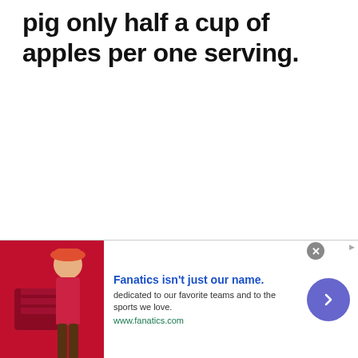pig only half a cup of apples per one serving.
[Figure (other): Advertisement banner for Fanatics showing a person wearing a hat and a red striped shirt. Text reads: 'Fanatics isn't just our name. dedicated to our favorite teams and to the sports we love. www.fanatics.com']